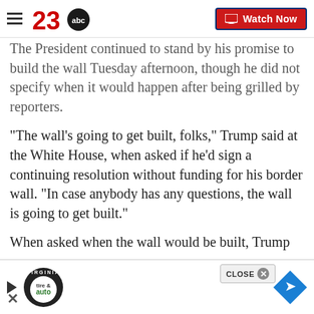23abc — Watch Now
The President continued to stand by his promise to build the wall Tuesday afternoon, though he did not specify when it would happen after being grilled by reporters.
"The wall's going to get built, folks," Trump said at the White House, when asked if he'd sign a continuing resolution without funding for his border wall. "In case anybody has any questions, the wall is going to get built."
When asked when the wall would be built, Trump
[Figure (screenshot): Bottom advertisement bar with tire & auto logo, play button, close button, and navigation diamond icon]